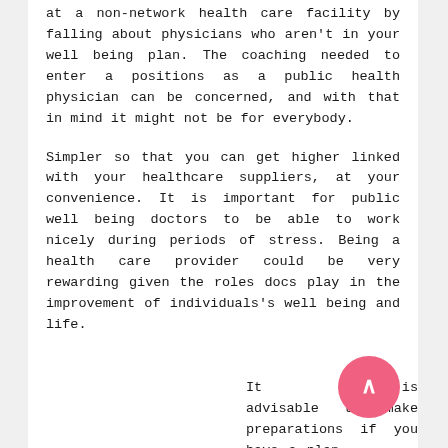at a non-network health care facility by falling about physicians who aren't in your well being plan. The coaching needed to enter a positions as a public health physician can be concerned, and with that in mind it might not be for everybody.
Simpler so that you can get higher linked with your healthcare suppliers, at your convenience. It is important for public well being doctors to be able to work nicely during periods of stress. Being a health care provider could be very rewarding given the roles docs play in the improvement of individuals's well being and life.
It is advisable to make preparations if you have a plan to